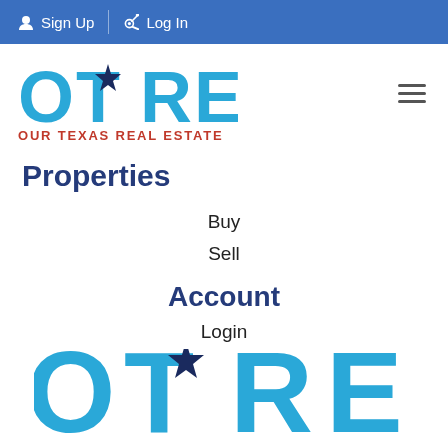Sign Up  Log In
[Figure (logo): OTRE Our Texas Real Estate logo with blue letters and red subtitle, Texas star icon inside the T]
Properties
Buy
Sell
Account
Login
[Figure (logo): OTRE Our Texas Real Estate logo repeated at bottom, partially cropped]